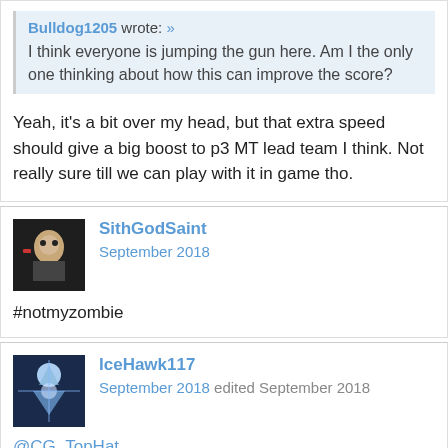Bulldog1205 wrote: » I think everyone is jumping the gun here. Am I the only one thinking about how this can improve the score?
Yeah, it's a bit over my head, but that extra speed should give a big boost to p3 MT lead team I think. Not really sure till we can play with it in game tho.
SithGodSaint
September 2018
#notmyzombie
IceHawk117
September 2018 edited September 2018
@CG_TopHat
"The first 2 times another Nightsister ally is defeated by an